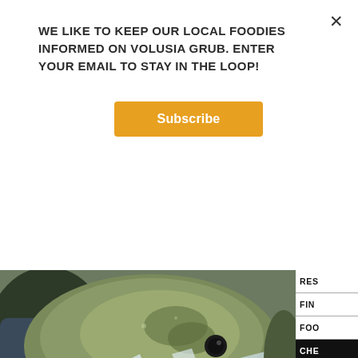WE LIKE TO KEEP OUR LOCAL FOODIES INFORMED ON VOLUSIA GRUB. ENTER YOUR EMAIL TO STAY IN THE LOOP!
[Figure (screenshot): Subscribe button with orange/amber background and white bold text reading 'Subscribe']
[Figure (photo): Close-up photo of a fresh fish head on ice, showing the eye and scales in detail]
RES
FIN
FOO
CHE
CON
S
So Many Chefs - So Few Cooks